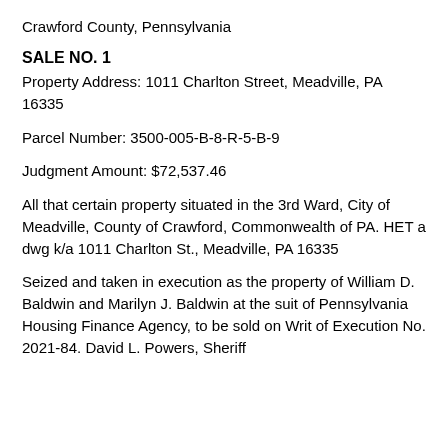Crawford County, Pennsylvania
SALE NO. 1
Property Address: 1011 Charlton Street, Meadville, PA 16335
Parcel Number: 3500-005-B-8-R-5-B-9
Judgment Amount: $72,537.46
All that certain property situated in the 3rd Ward, City of Meadville, County of Crawford, Commonwealth of PA. HET a dwg k/a 1011 Charlton St., Meadville, PA 16335
Seized and taken in execution as the property of William D. Baldwin and Marilyn J. Baldwin at the suit of Pennsylvania Housing Finance Agency, to be sold on Writ of Execution No. 2021-84. David L. Powers, Sheriff